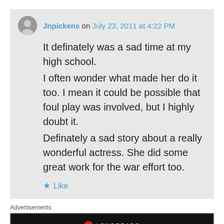Jnpickens on July 23, 2011 at 4:22 PM
It definately was a sad time at my high school.
I often wonder what made her do it too. I mean it could be possible that foul play was involved, but I highly doubt it.
Definately a sad story about a really wonderful actress. She did some great work for the war effort too.
★ Like
Advertisements
[Figure (other): Longreads advertisement banner with red circle logo and tagline 'Read anything great lately?']